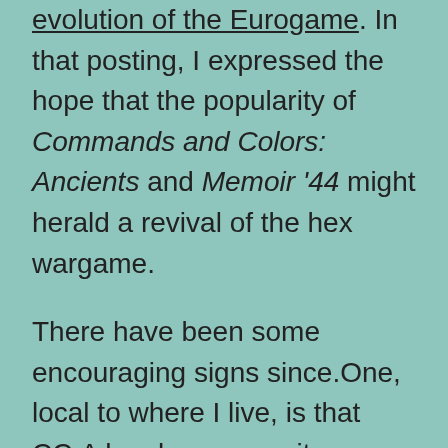evolution of the Eurogame. In that posting, I expressed the hope that the popularity of Commands and Colors: Ancients and Memoir '44 might herald a revival of the hex wargame.

There have been some encouraging signs since.One, local to where I live, is that CC:A has become quite popular at my local Friday night gaming group. I bring in my tacklebox full of the base game and all three expansions every week and can generally count on a game with at least one of four people I've turned on to it. This is in a group that had been pretty strongly focused on non-combat